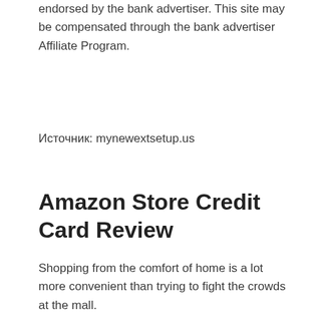endorsed by the bank advertiser. This site may be compensated through the bank advertiser Affiliate Program.
Источник: mynewextsetup.us
Amazon Store Credit Card Review
Shopping from the comfort of home is a lot more convenient than trying to fight the crowds at the mall.